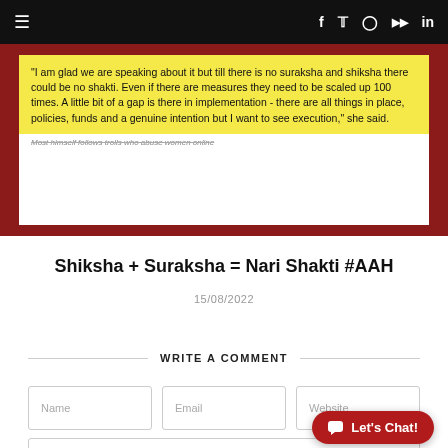≡  f  𝕏  IG  YT  in
[Figure (screenshot): Screenshot of a social media post or article with yellow highlighted quote text reading: "I am glad we are speaking about it but till there is no suraksha and shiksha there could be no shakti. Even if there are measures they need to be scaled up 100 times. A little bit of a gap is there in implementation - there are all things in place, policies, funds and a genuine intention but I want to see execution," she said. Caption below is redacted.]
Shiksha + Suraksha = Nari Shakti #AAH
15/08/2022
WRITE A COMMENT
Name
Email
Website
Enter your comment here...